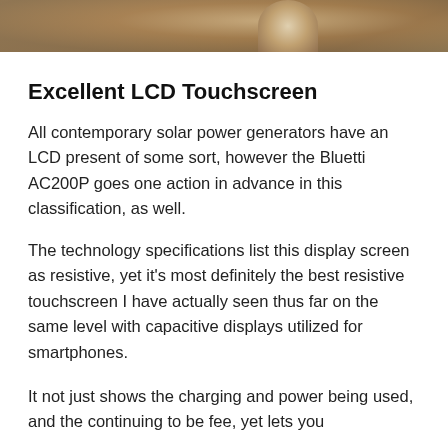[Figure (photo): Partial photo visible at top of page, appears to show sandy or earthy textured surface in brown/tan tones.]
Excellent LCD Touchscreen
All contemporary solar power generators have an LCD present of some sort, however the Bluetti AC200P goes one action in advance in this classification, as well.
The technology specifications list this display screen as resistive, yet it’s most definitely the best resistive touchscreen I have actually seen thus far on the same level with capacitive displays utilized for smartphones.
It not just shows the charging and power being used, and the continuing to be fee, yet lets you